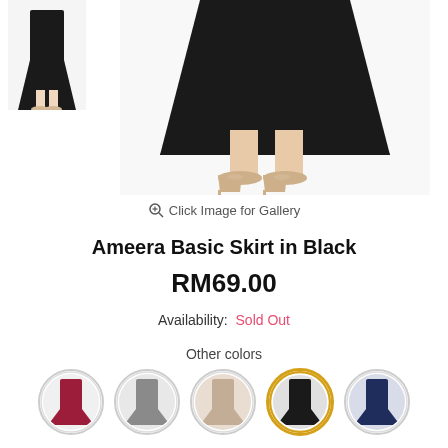[Figure (photo): Thumbnail of person wearing a long black skirt with beige heels (small, top-left)]
[Figure (photo): Main product photo showing lower half of person wearing a black A-line skirt and beige pointed-toe heels]
Click Image for Gallery
Ameera Basic Skirt in Black
RM69.00
Availability: Sold Out
Other colors
[Figure (illustration): Row of 5 circular color swatch thumbnails for different color variants: burgundy/red, grey, beige/nude, black (selected with gold ring), navy blue]